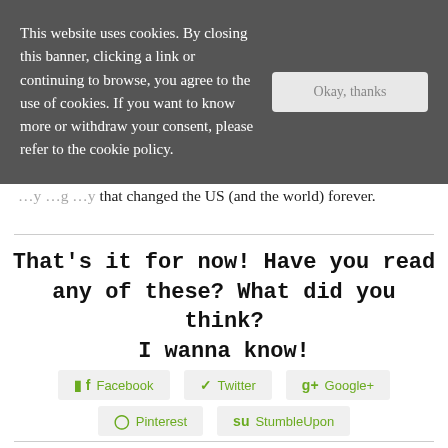This website uses cookies. By closing this banner, clicking a link or continuing to browse, you agree to the use of cookies. If you want to know more or withdraw your consent, please refer to the cookie policy.
that changed the US (and the world) forever.
That's it for now! Have you read any of these? What did you think?
I wanna know!
Facebook  Twitter  Google+  Pinterest  StumbleUpon